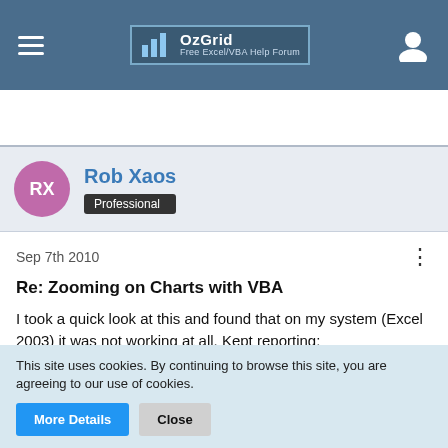OzGrid — Free Excel/VBA Help Forum
Rob Xaos
Professional
Sep 7th 2010
Re: Zooming on Charts with VBA
I took a quick look at this and found that on my system (Excel 2003) it was not working at all. Kept reporting:
Run-time error '1004'
This site uses cookies. By continuing to browse this site, you are agreeing to our use of cookies.